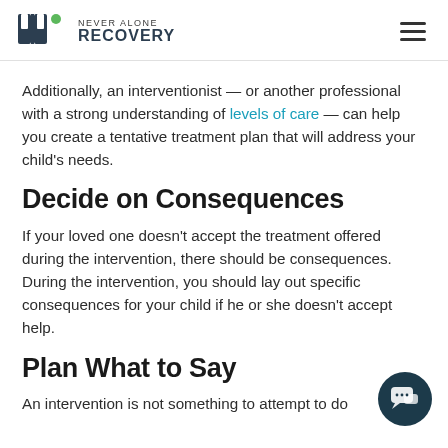NEVER ALONE RECOVERY
Additionally, an interventionist — or another professional with a strong understanding of levels of care — can help you create a tentative treatment plan that will address your child's needs.
Decide on Consequences
If your loved one doesn't accept the treatment offered during the intervention, there should be consequences. During the intervention, you should lay out specific consequences for your child if he or she doesn't accept help.
Plan What to Say
An intervention is not something to attempt to do